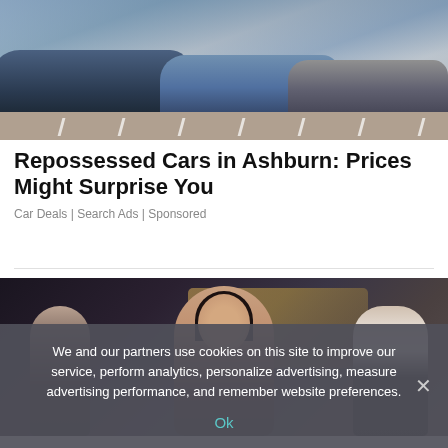[Figure (photo): Aerial view of cars parked in a parking lot with white lines visible on asphalt]
Repossessed Cars in Ashburn: Prices Might Surprise You
Car Deals | Search Ads | Sponsored
[Figure (photo): A woman with dark hair at what appears to be a formal event or red carpet, surrounded by other people, with a golden architectural background]
We and our partners use cookies on this site to improve our service, perform analytics, personalize advertising, measure advertising performance, and remember website preferences.
Ok